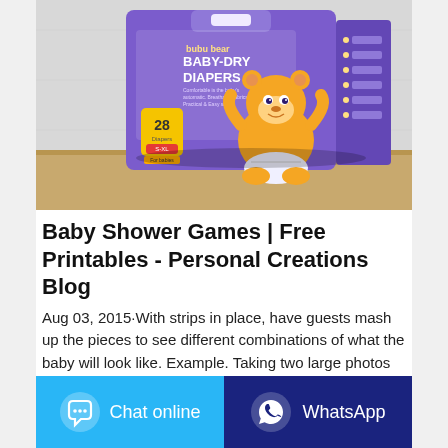[Figure (photo): Product photo of bubu bear Baby-Dry Diapers box, purple packaging with cartoon bear mascot, showing '28 diapers', displayed on a wooden surface with white fabric background.]
Baby Shower Games | Free Printables - Personal Creations Blog
Aug 03, 2015·With strips in place, have guests mash up the pieces to see different combinations of what the baby will look like. Example. Taking two large photos (one of mom and one of dad) cut large equal sized strips so guests can swap out eyes, noses and mouths. For extra
Chat online
WhatsApp